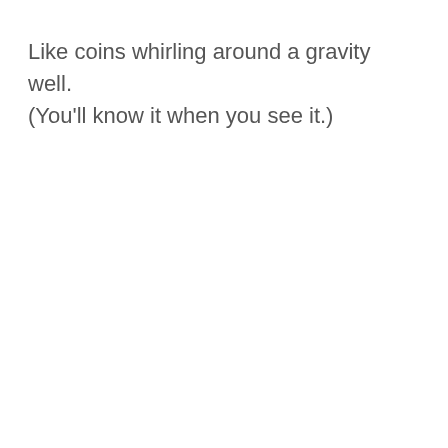Like coins whirling around a gravity well. (You'll know it when you see it.)